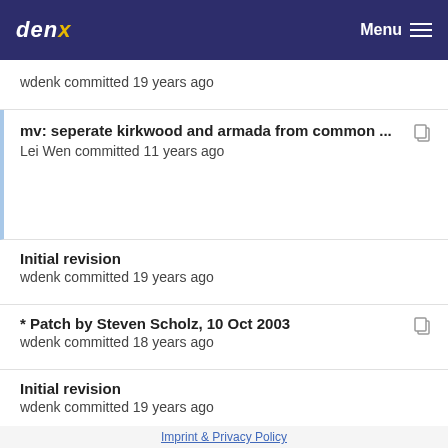denx  Menu
wdenk committed 19 years ago
mv: seperate kirkwood and armada from common ...
Lei Wen committed 11 years ago
Initial revision
wdenk committed 19 years ago
* Patch by Steven Scholz, 10 Oct 2003
wdenk committed 18 years ago
Initial revision
wdenk committed 19 years ago
Many spelling fixes in README.
Marcel Ziswiler committed 14 years ago
* Patch by Yuli Barcohen, 13 Jul 2004:
Imprint & Privacy Policy